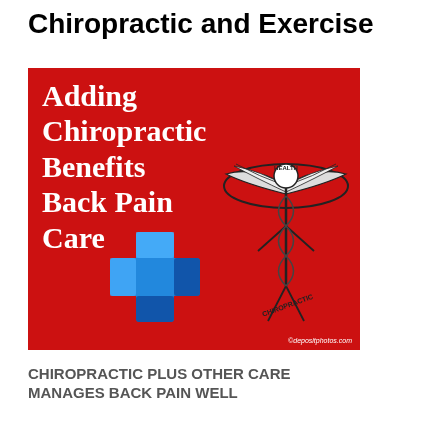Chiropractic and Exercise
[Figure (illustration): Red square advertisement image with white text reading 'Adding Chiropractic Benefits Back Pain Care', a blue 3D medical cross symbol, and a caduceus/chiropractic winged figure logo with 'HEALTH CHIROPRACTIC' text. Bottom right credit: ©depositphotos.com]
CHIROPRACTIC PLUS OTHER CARE MANAGES BACK PAIN WELL